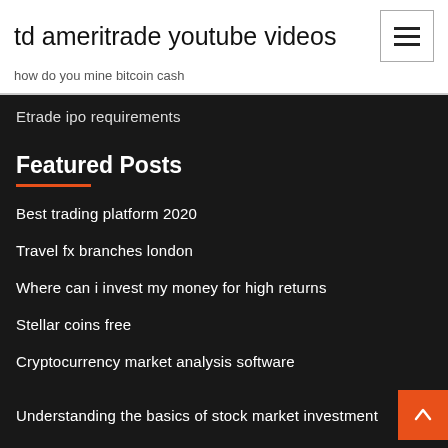td ameritrade youtube videos
how do you mine bitcoin cash
Etrade ipo requirements
Featured Posts
Best trading platform 2020
Travel fx branches london
Where can i invest my money for high returns
Stellar coins free
Cryptocurrency market analysis software
Understanding the basics of stock market investment